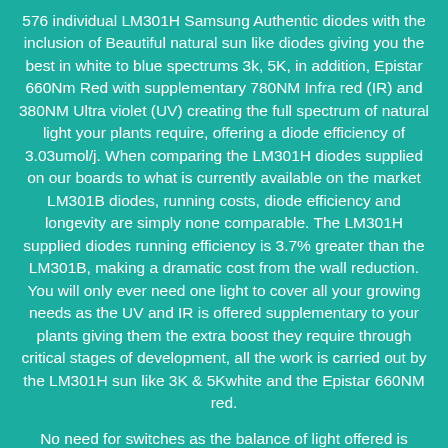576 individual LM301H Samsung Authentic diodes with the inclusion of Beautiful natural sun like diodes giving you the best in white to blue spectrums 3k, 5K, in addition, Epistar 660Nm Red with supplementary 780NM Infra red (IR) and 380NM Ultra violet (UV) creating the full spectrum of natural light your plants require, offering a diode efficiency of 3.03umol/j. When comparing the LM301H diodes supplied on our boards to what is currently available on the market LM301B diodes, running costs, diode efficiency and longevity are simply none comparable. The LM301H supplied diodes running efficiency is 3.7% greater than the LM301B, making a dramatic cost from the wall reduction. You will only ever need one light to cover all your growing needs as the UV and IR is offered supplementary to your plants giving them the extra boost they require through critical stages of development, all the work is carried out by the LM301H sun like 3K & 5Kwhite and the Epistar 660NM red.
No need for switches as the balance of light offered is perfect for the complete development of your plants